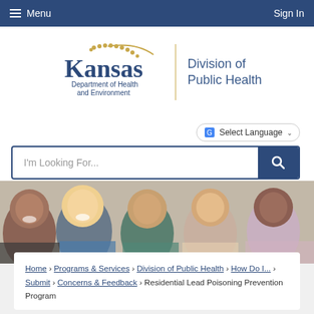Menu | Sign In
[Figure (logo): Kansas Department of Health and Environment - Division of Public Health logo]
I'm Looking For... [search box] | Select Language
[Figure (photo): Group of five happy children smiling together in a classroom setting]
Home › Programs & Services › Division of Public Health › How Do I... › Submit › Concerns & Feedback › Residential Lead Poisoning Prevention Program